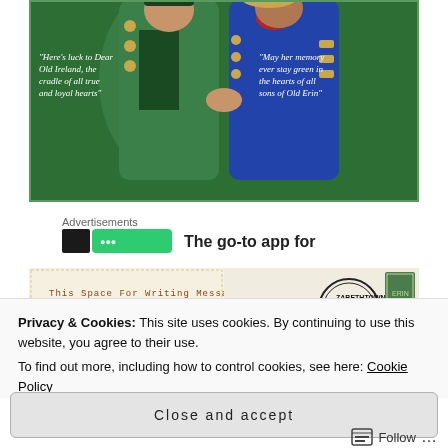[Figure (illustration): Vintage illustration showing two men in period costumes (green and blue jackets) with text overlays: 'Here's luck to Dear Old Ireland, the cradle of all true and loyal hearts' on left, and 'May her memory ever stay green in the hearts of all sons of Old Erin' on right, on a green background.]
Advertisements
[Figure (screenshot): Advertisement banner with black rectangle, green app badge, and partial text 'The go-to app for']
[Figure (photo): Vintage postcard back showing 'This Space For Writing Messages' text with decorative elements, postmark reading 'ZABETHTOWN MAR' and a green stamp.]
Privacy & Cookies: This site uses cookies. By continuing to use this website, you agree to their use.
To find out more, including how to control cookies, see here: Cookie Policy
Close and accept
Follow